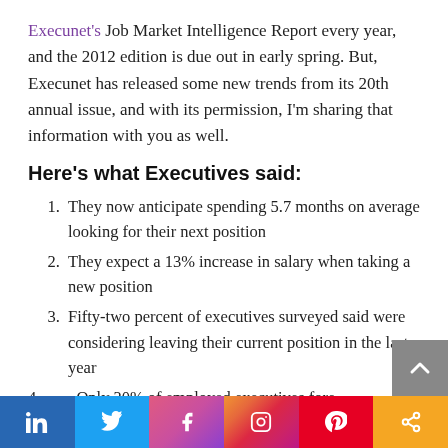Execunet's Job Market Intelligence Report every year, and the 2012 edition is due out in early spring. But, Execunet has released some new trends from its 20th annual issue, and with its permission, I'm sharing that information with you as well.
Here's what Executives said:
They now anticipate spending 5.7 months on average looking for their next position
They expect a 13% increase in salary when taking a new position
Fifty-two percent of executives surveyed said were considering leaving their current position in the last year
Only 20% of employed executives fore...